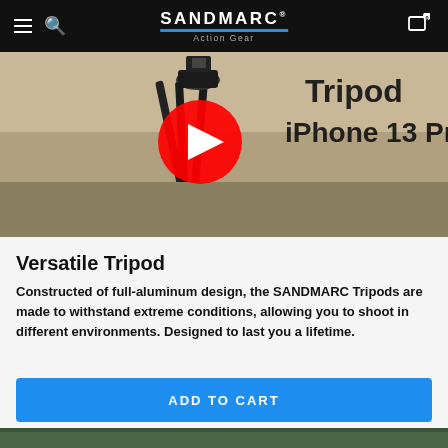SANDMARC Action Gear
[Figure (screenshot): YouTube video thumbnail showing a SANDMARC tripod on sandy surface with text 'Tripod iPhone 13 Pro' and a red YouTube play button overlay]
Versatile Tripod
Constructed of full-aluminum design, the SANDMARC Tripods are made to withstand extreme conditions, allowing you to shoot in different environments. Designed to last you a lifetime.
ADD TO CART